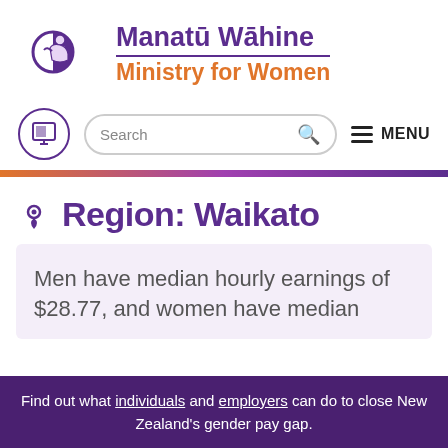[Figure (logo): Manatū Wāhine Ministry for Women logo with stylized purple figure icon and bilingual text]
[Figure (screenshot): Website navigation bar with circular icon, search box, and MENU button]
Region: Waikato
Men have median hourly earnings of $28.77, and women have median
Find out what individuals and employers can do to close New Zealand's gender pay gap.